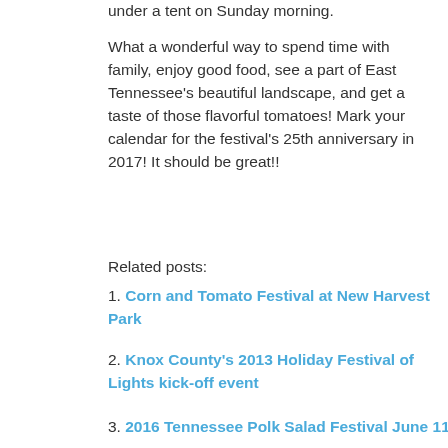under a tent on Sunday morning.
What a wonderful way to spend time with family, enjoy good food, see a part of East Tennessee’s beautiful landscape, and get a taste of those flavorful tomatoes!  Mark your calendar for the festival’s 25th anniversary in 2017!  It should be great!!
Related posts:
1. Corn and Tomato Festival at New Harvest Park
2. Knox County’s 2013 Holiday Festival of Lights kick-off event
3. 2016 Tennessee Polk Salad Festival June 11
SEARCH ...